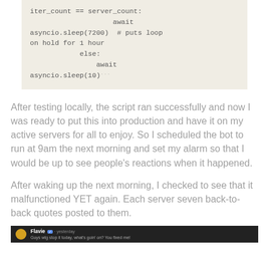iter_count == server_count:
                    await asyncio.sleep(7200)  # puts loop on hold for 1 hour
            else:
                await asyncio.sleep(10)```
After testing locally, the script ran successfully and now I was ready to put this into production and have it on my active servers for all to enjoy. So I scheduled the bot to run at 9am the next morning and set my alarm so that I would be up to see people's reactions when it happened.
After waking up the next morning, I checked to see that it malfunctioned YET again. Each server seven back-to-back quotes posted to them.
[Figure (screenshot): Dark screenshot of a social media post with a user avatar, username with verified badge, and post text]